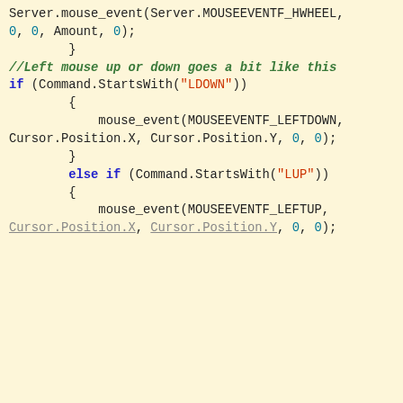[Figure (screenshot): Code editor screenshot showing C# code for mouse event handling on a light yellow background. Code includes Server.mouse_event with MOUSEEVENTF_HWHEEL, a comment in green italic about left mouse up or down, if/else if blocks checking Command.StartsWith for LDOWN and LUP, and calls to mouse_event with MOUSEEVENTF_LEFTDOWN and MOUSEEVENTF_LEFTUP.]
[Figure (screenshot): Cookie consent banner overlay in orange/amber background with text: 'Like every other website we use cookies. By using our site you acknowledge that you have read and understand our Cookie Policy, Privacy Policy, and our Terms of Service.' with a Learn more link and three buttons: Ask me later, Decline, Allow cookies.]
...ssion
...he client to the ...crypted using a ...and the same is ...across the wire but this form of data protection might be fast but is far...